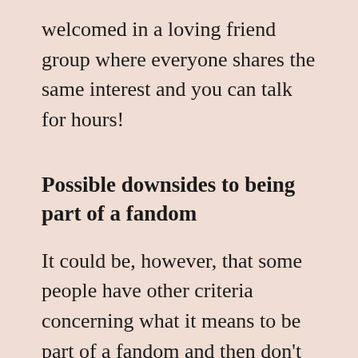welcomed in a loving friend group where everyone shares the same interest and you can talk for hours!
Possible downsides to being part of a fandom
It could be, however, that some people have other criteria concerning what it means to be part of a fandom and then don't welcome others who don't have as much fan items or don't go to events but instead just have the same love for the book – so the intensity of being dedicated might not be the same, but the shared love is. That could be a possible reason for some people to be hesitant whether they…